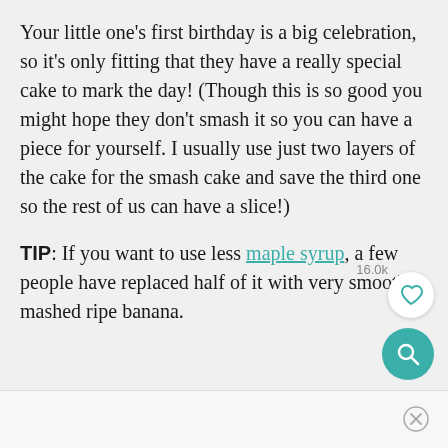Your little one's first birthday is a big celebration, so it's only fitting that they have a really special cake to mark the day! (Though this is so good you might hope they don't smash it so you can have a piece for yourself. I usually use just two layers of the cake for the smash cake and save the third one so the rest of us can have a slice!)
TIP: If you want to use less maple syrup, a few people have replaced half of it with very smooth mashed ripe banana.